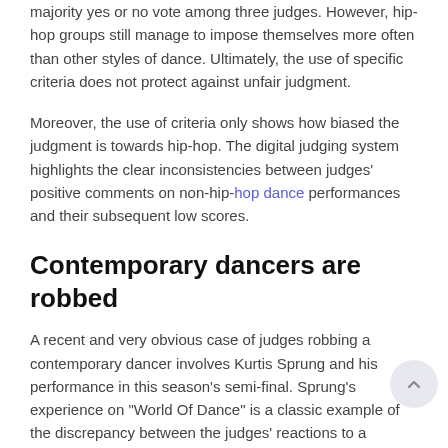majority yes or no vote among three judges. However, hip-hop groups still manage to impose themselves more often than other styles of dance. Ultimately, the use of specific criteria does not protect against unfair judgment.
Moreover, the use of criteria only shows how biased the judgment is towards hip-hop. The digital judging system highlights the clear inconsistencies between judges' positive comments on non-hip-hop dance performances and their subsequent low scores.
Contemporary dancers are robbed
A recent and very obvious case of judges robbing a contemporary dancer involves Kurtis Sprung and his performance in this season's semi-final. Sprung's experience on "World Of Dance" is a classic example of the discrepancy between the judges' reactions to a